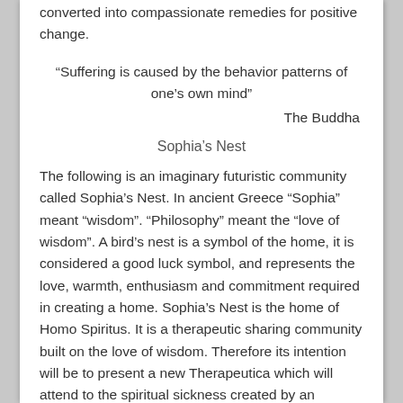converted into compassionate remedies for positive change.
“Suffering is caused by the behavior patterns of one’s own mind”
The Buddha
Sophia’s Nest
The following is an imaginary futuristic community called Sophia’s Nest. In ancient Greece “Sophia” meant “wisdom”. “Philosophy” meant the “love of wisdom”. A bird’s nest is a symbol of the home, it is considered a good luck symbol, and represents the love, warmth, enthusiasm and commitment required in creating a home. Sophia’s Nest is the home of Homo Spiritus. It is a therapeutic sharing community built on the love of wisdom. Therefore its intention will be to present a new Therapeutica which will attend to the spiritual sickness created by an addicted human soul. It will be a retreat for science to catch its breath and nourish its creativity before returning to the world. It will be a refuge to